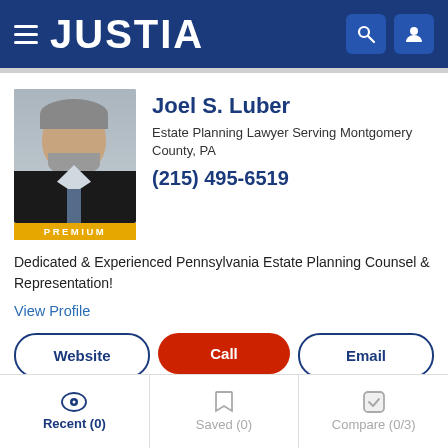JUSTIA
[Figure (photo): Headshot photo of Joel S. Luber, an older man with grey hair and beard wearing a dark suit, with a PREMIUM badge below]
Joel S. Luber
Estate Planning Lawyer Serving Montgomery County, PA
(215) 495-6519
Dedicated & Experienced Pennsylvania Estate Planning Counsel & Representation!
View Profile
Website
Call
Email
Compare
Save
Recent (0)	Saved (0)	Compare (0/3)